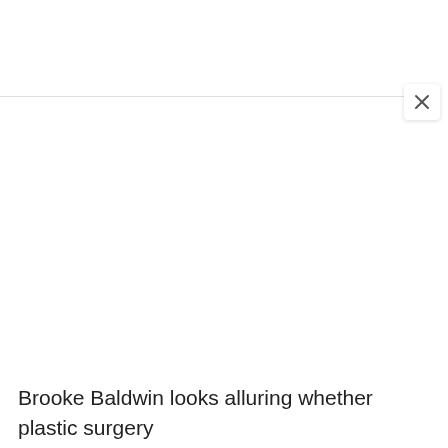[Figure (screenshot): A close button (X) UI element in the upper right area of a dialog or overlay, shown as a white rounded square with an X mark]
Brooke Baldwin looks alluring whether plastic surgery